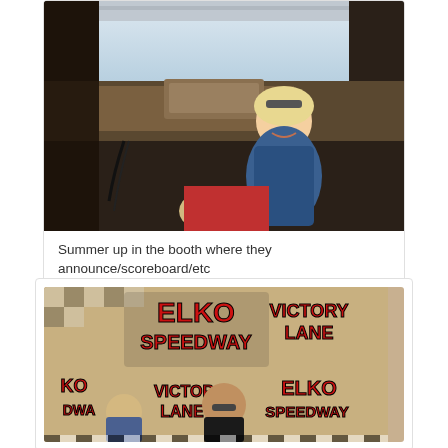[Figure (photo): A young blonde girl smiling in an announcer/scoreboard booth, viewed from above. A second child with blonde hair is visible in the foreground.]
Summer up in the booth where they announce/scoreboard/etc
[Figure (photo): Elko Speedway Victory Lane sign with checkered flag pattern. People visible in the foreground at Victory Lane celebration area.]